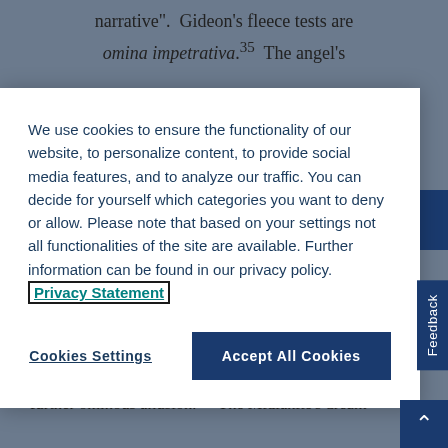narrative". Gideon's fleece tests are omina impetrativa.35 The angel's
We use cookies to ensure the functionality of our website, to personalize content, to provide social media features, and to analyze our traffic. You can decide for yourself which categories you want to deny or allow. Please note that based on your settings not all functionalities of the site are available. Further information can be found in our privacy policy. Privacy Statement
Cookies Settings
Accept All Cookies
an apodosis (forecast)",36 but on this occasion it is subverted, its subversion presaging Gideon's subversion of Yahwism: “If Yahweh is with us, why has all this befallen us?” (6:13).37 The name of the Midianite commanders, Oreb and Zeeb, furnish a further ominous allusion.33 The Midianite's dream